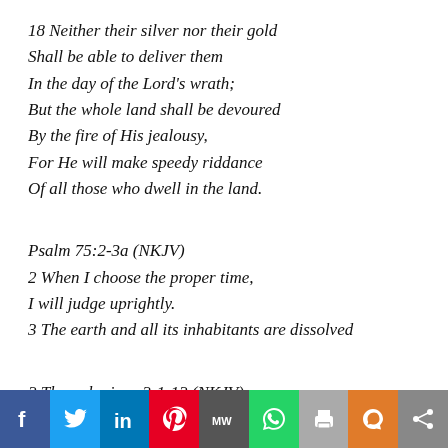18 Neither their silver nor their gold Shall be able to deliver them In the day of the Lord's wrath; But the whole land shall be devoured By the fire of His jealousy, For He will make speedy riddance Of all those who dwell in the land.
Psalm 75:2-3a (NKJV)
2 When I choose the proper time, I will judge uprightly. 3 The earth and all its inhabitants are dissolved
2 Thessalonians 2:1-12 (NKJV)
[Figure (other): Social media sharing bar with icons for Facebook, Twitter, LinkedIn, Pinterest, MeWe, WhatsApp, Print, Parler, and Share]